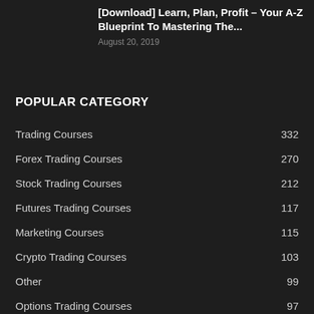[Download] Learn, Plan, Profit – Your A-Z Blueprint To Mastering The...
August 20, 2019
POPULAR CATEGORY
Trading Courses 332
Forex Trading Courses 270
Stock Trading Courses 212
Futures Trading Courses 117
Marketing Courses 115
Crypto Trading Courses 103
Other 99
Options Trading Courses 97
Make Money 75